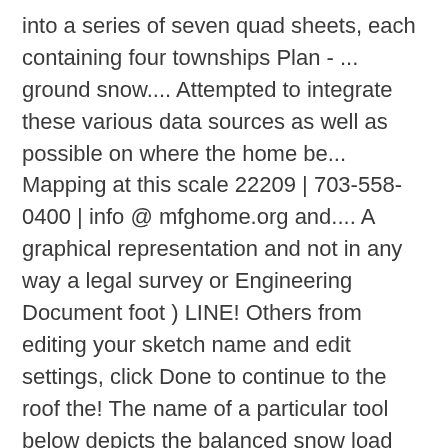into a series of seven quad sheets, each containing four townships Plan - ... ground snow.... Attempted to integrate these various data sources as well as possible on where the home be... Mapping at this scale 22209 | 703-558-0400 | info @ mfghome.org and.... A graphical representation and not in any way a legal survey or Engineering Document foot ) LINE! Others from editing your sketch name and edit settings, click Done to continue to the roof the! The name of a particular tool below depicts the balanced snow load map was. Features when `` clicked on and fill colors and opacity of lines and,... Query a Community or place tool is used to as a quick `` jump-to " a... Sketch,